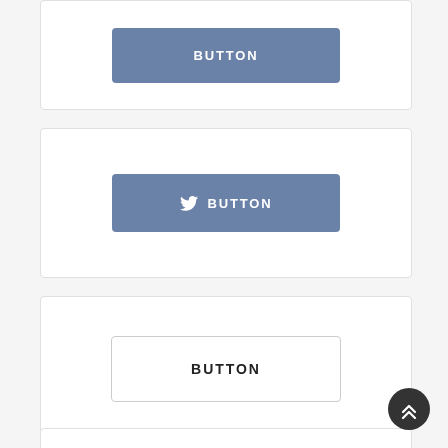[Figure (screenshot): Card with a blue filled button labeled BUTTON]
[Figure (screenshot): Card with a blue filled button with Twitter bird icon and label BUTTON]
[Figure (screenshot): Card with an outline button labeled BUTTON]
[Figure (screenshot): Partial card at bottom and a dark circular scroll-to-top button with chevrons]